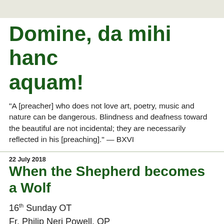Domine, da mihi hanc aquam!
"A [preacher] who does not love art, poetry, music and nature can be dangerous. Blindness and deafness toward the beautiful are not incidental; they are necessarily reflected in his [preaching]." — BXVI
22 July 2018
When the Shepherd becomes a Wolf
16th Sunday OT
Fr. Philip Neri Powell, OP
OLR, NOLA
Why does Jesus begin teaching the crowd gathered in front of him? The great medieval teacher of the faith, Thomas